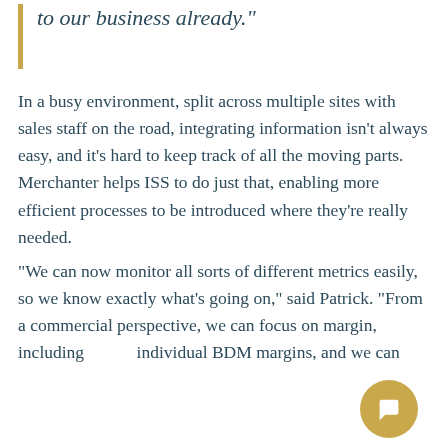to our business already."
In a busy environment, split across multiple sites with sales staff on the road, integrating information isn't always easy, and it's hard to keep track of all the moving parts. Merchanter helps ISS to do just that, enabling more efficient processes to be introduced where they're really needed.
"We can now monitor all sorts of different metrics easily, so we know exactly what's going on," said Patrick. "From a commercial perspective, we can focus on margin, including individual BDM margins, and we can